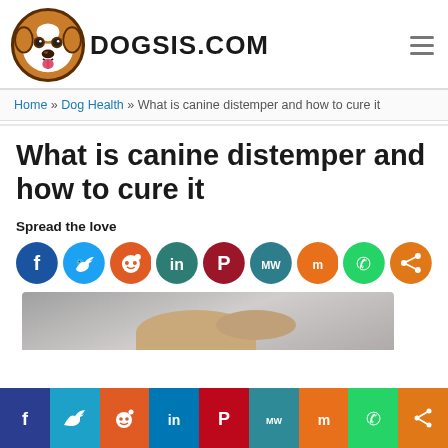DOGSIS.COM
Home » Dog Health » What is canine distemper and how to cure it
What is canine distemper and how to cure it
Spread the love
[Figure (other): Row of social media share buttons: Facebook (blue), Twitter (light blue), Reddit (orange-red), LinkedIn (teal), Pinterest (dark red), MeWe (teal), Mix (orange), WhatsApp (green), Share (orange)]
[Figure (photo): Partial photo of a person with a dog, cropped at bottom of visible area]
[Figure (other): Sticky bottom bar with social share buttons: Facebook (dark blue), Twitter (teal), Reddit (orange), LinkedIn (blue), Pinterest (red), MeWe (teal), Mix (orange), WhatsApp (green), Share (orange)]